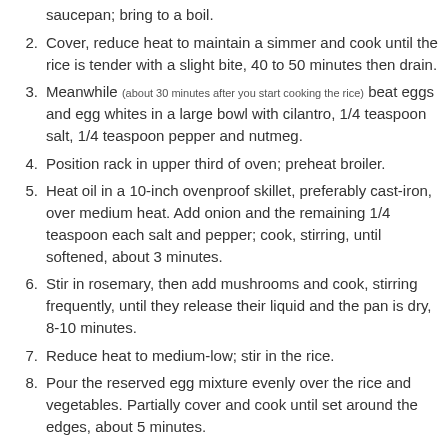saucepan; bring to a boil.
2. Cover, reduce heat to maintain a simmer and cook until the rice is tender with a slight bite, 40 to 50 minutes then drain.
3. Meanwhile (about 30 minutes after you start cooking the rice) beat eggs and egg whites in a large bowl with cilantro, 1/4 teaspoon salt, 1/4 teaspoon pepper and nutmeg.
4. Position rack in upper third of oven; preheat broiler.
5. Heat oil in a 10-inch ovenproof skillet, preferably cast-iron, over medium heat. Add onion and the remaining 1/4 teaspoon each salt and pepper; cook, stirring, until softened, about 3 minutes.
6. Stir in rosemary, then add mushrooms and cook, stirring frequently, until they release their liquid and the pan is dry, 8-10 minutes.
7. Reduce heat to medium-low; stir in the rice.
8. Pour the reserved egg mixture evenly over the rice and vegetables. Partially cover and cook until set around the edges, about 5 minutes.
9. Sprinkle with Parmesan and prosciutto.
10. Place the pan under the broiler and broil until the...